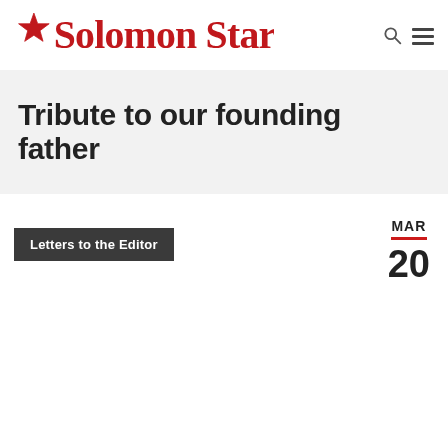Solomon Star
Tribute to our founding father
Letters to the Editor
MAR 20